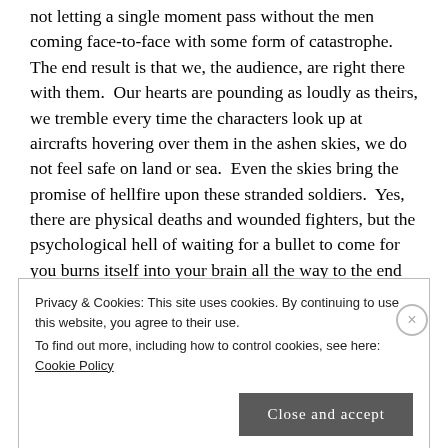not letting a single moment pass without the men coming face-to-face with some form of catastrophe. The end result is that we, the audience, are right there with them.  Our hearts are pounding as loudly as theirs, we tremble every time the characters look up at aircrafts hovering over them in the ashen skies, we do not feel safe on land or sea.  Even the skies bring the promise of hellfire upon these stranded soldiers.  Yes, there are physical deaths and wounded fighters, but the psychological hell of waiting for a bullet to come for you burns itself into your brain all the way to the end credits.
Privacy & Cookies: This site uses cookies. By continuing to use this website, you agree to their use.
To find out more, including how to control cookies, see here: Cookie Policy
Close and accept